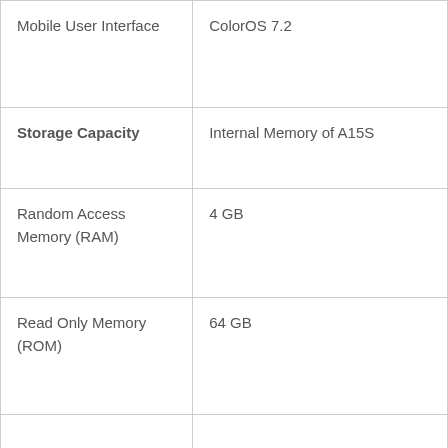| Mobile User Interface | ColorOS 7.2 |
| Storage Capacity | Internal Memory of A15S |
| Random Access Memory (RAM) | 4 GB |
| Read Only Memory (ROM) | 64 GB |
|  |  |
| Camera | Number of Main and Selfie Camera with Mega Pixel |
| Rear Camera (Quad) | 13 MP, f/2.2, (wide), 1/3.1", 1.12μm, PDAF
8 MP, f/2.4, (...) |